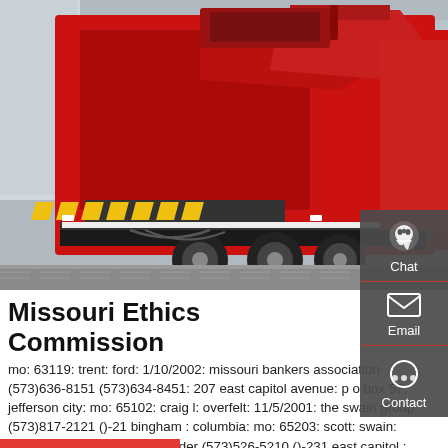[Figure (photo): Photo of large red garbage/refuse trucks parked in a lot, with a person in a teal jacket visible on the right side.]
Missouri Ethics Commission
mo: 63119: trent: ford: 1/10/2002: missouri bankers association (573)636-8151 (573)634-8451: 207 east capitol avenue: p o box 57: jefferson city: mo: 65102: craig l: overfelt: 11/5/2001: the swain group (573)817-2121 ()-21 bingham : columbia: mo: 65203: scott: swain: 2/14/2002: state public defender (573)526-5210 ()-231 east capitol : jefferson